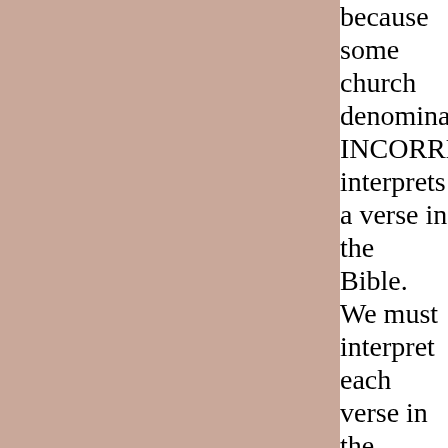because some church denominations INCORRECTLY interprets a verse in the Bible. We must interpret each verse in the LIGHT of the WHOLE of